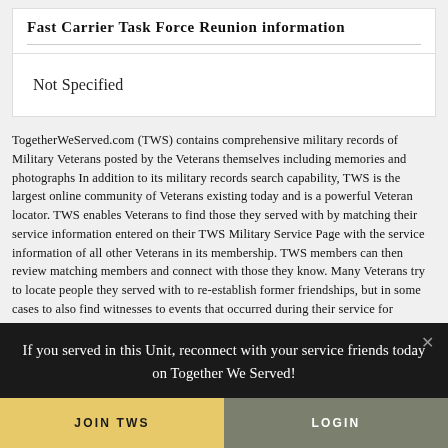Fast Carrier Task Force Reunion information
Not Specified
TogetherWeServed.com (TWS) contains comprehensive military records of Military Veterans posted by the Veterans themselves including memories and photographs In addition to its military records search capability, TWS is the largest online community of Veterans existing today and is a powerful Veteran locator. TWS enables Veterans to find those they served with by matching their service information entered on their TWS Military Service Page with the service information of all other Veterans in its membership. TWS members can then review matching members and connect with those they know. Many Veterans try to locate people they served with to re-establish former friendships, but in some cases to also find witnesses to events that occurred during their service for medical claims purposes. TWS has a
If you served in this Unit, reconnect with your service friends today on Together We Served!
JOIN TWS
LOGIN